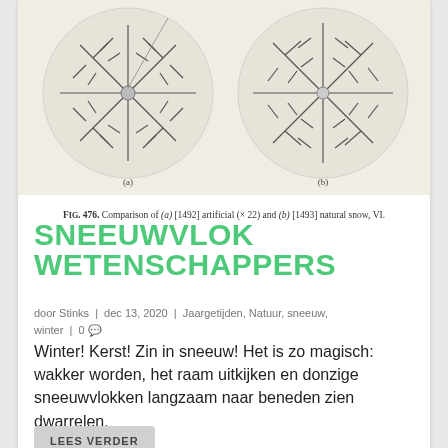[Figure (photo): Black and white photograph showing two circular images of snowflakes: (a) artificial snowflake [1492] and (b) natural snow [1493], both magnified x22. Vintage scientific illustration style.]
FIG. 476. Comparison of (a) [1492] artificial (× 22) and (b) [1493] natural snow, VI.
SNEEUWVLOK WETENSCHAPPERS
door Stinks | dec 13, 2020 | Jaargetijden, Natuur, sneeuw, winter | 0 💬
Winter! Kerst! Zin in sneeuw! Het is zo magisch: wakker worden, het raam uitkijken en donzige sneeuwvlokken langzaam naar beneden zien dwarrelen.
LEES VERDER